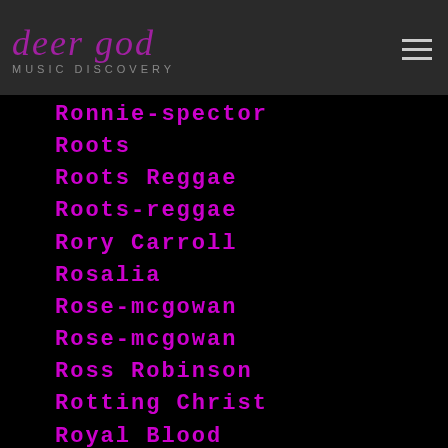deer god
Ronnie-spector
Roots
Roots Reggae
Roots-reggae
Rory Carroll
Rosalia
Rose-mcgowan
Rose-mcgowan
Ross Robinson
Rotting Christ
Royal Blood
Roy Ellis
Royksopp
Rudy Johnson
Rufus Wainwright
Runaways
RUN DMC